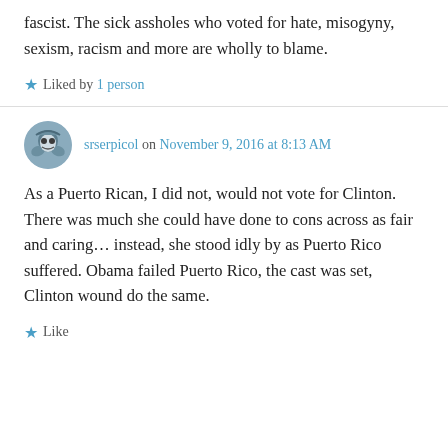fascist. The sick assholes who voted for hate, misogyny, sexism, racism and more are wholly to blame.
Liked by 1 person
srserpicol on November 9, 2016 at 8:13 AM
As a Puerto Rican, I did not, would not vote for Clinton. There was much she could have done to cons across as fair and caring… instead, she stood idly by as Puerto Rico suffered. Obama failed Puerto Rico, the cast was set, Clinton wound do the same.
Like